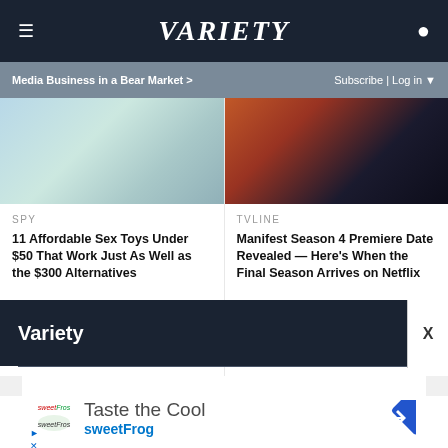Variety
Media Business in a Bear Market > Subscribe | Log in
[Figure (photo): Thumbnail image with teal/light blue fabric or textile]
SPY
11 Affordable Sex Toys Under $50 That Work Just As Well as the $300 Alternatives
[Figure (photo): Thumbnail image with orange/brown clothing and dark background]
TVLINE
Manifest Season 4 Premiere Date Revealed — Here's When the Final Season Arrives on Netflix
Variety
X
[Figure (advertisement): sweetFrog advertisement: Taste the Cool, sweetFrog with logo and navigation arrow icon]